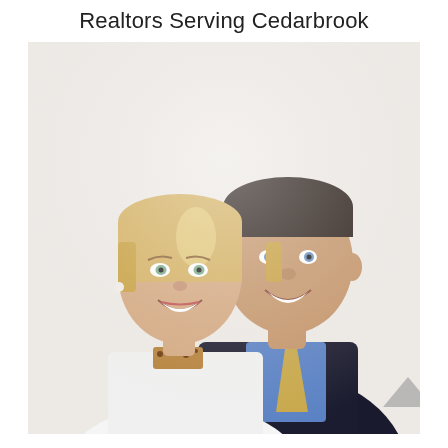Realtors Serving Cedarbrook
[Figure (photo): Professional headshot photo of two realtors — a smiling blonde woman in a white blouse in the foreground and a smiling dark-haired man in a dark suit with blue shirt and gold tie behind her, posed against a white background.]